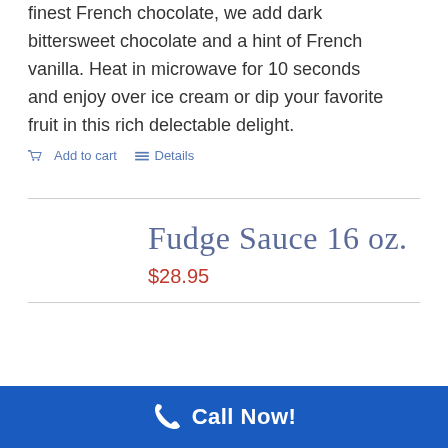finest French chocolate, we add dark bittersweet chocolate and a hint of French vanilla. Heat in microwave for 10 seconds and enjoy over ice cream or dip your favorite fruit in this rich delectable delight.
Add to cart   Details
Fudge Sauce 16 oz.
$28.95
Our delicious Fudge Sauce has a devoted
Call Now!